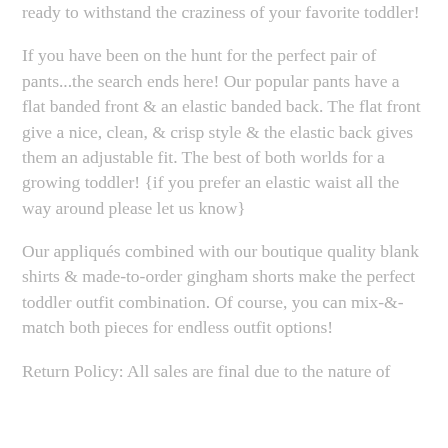ready to withstand the craziness of your favorite toddler!
If you have been on the hunt for the perfect pair of pants...the search ends here! Our popular pants have a flat banded front & an elastic banded back. The flat front give a nice, clean, & crisp style & the elastic back gives them an adjustable fit. The best of both worlds for a growing toddler! {if you prefer an elastic waist all the way around please let us know}
Our appliqués combined with our boutique quality blank shirts & made-to-order gingham shorts make the perfect toddler outfit combination. Of course, you can mix-&-match both pieces for endless outfit options!
Return Policy: All sales are final due to the nature of